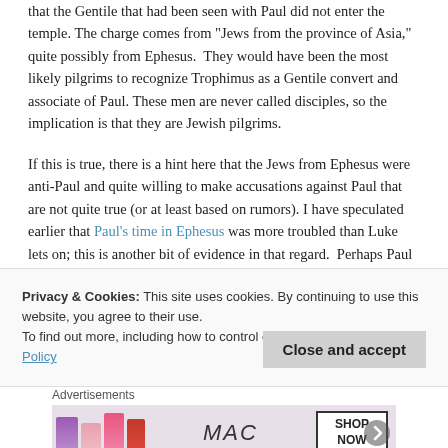that the Gentile that had been seen with Paul did not enter the temple. The charge comes from "Jews from the province of Asia," quite possibly from Ephesus.  They would have been the most likely pilgrims to recognize Trophimus as a Gentile convert and associate of Paul. These men are never called disciples, so the implication is that they are Jewish pilgrims.
If this is true, there is a hint here that the Jews from Ephesus were anti-Paul and quite willing to make accusations against Paul that are not quite true (or at least based on rumors). I have speculated earlier that Paul's time in Ephesus was more troubled than Luke lets on; this is another bit of evidence in that regard.  Perhaps Paul was in prison on Ephesus after all!
Privacy & Cookies: This site uses cookies. By continuing to use this website, you agree to their use.
To find out more, including how to control cookies, see here: Cookie Policy
Close and accept
Advertisements
[Figure (photo): MAC cosmetics advertisement banner showing lipsticks in purple, pink, and red colors on the left, the MAC logo in italic script in the center, and a 'SHOP NOW' button in a black-bordered box on the right.]